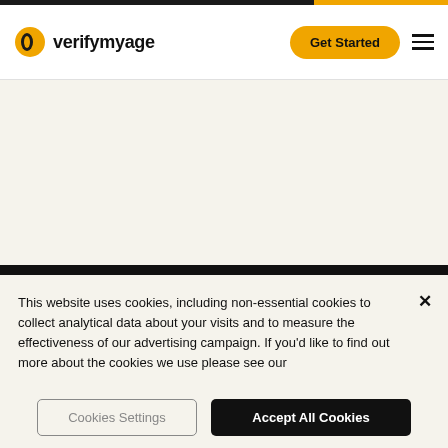verifymyage — Get Started
HOME
BUSINESSES
Pricing
ABOUT
This website uses cookies, including non-essential cookies to collect analytical data about your visits and to measure the effectiveness of our advertising campaign. If you'd like to find out more about the cookies we use please see our
Cookies Settings
Accept All Cookies